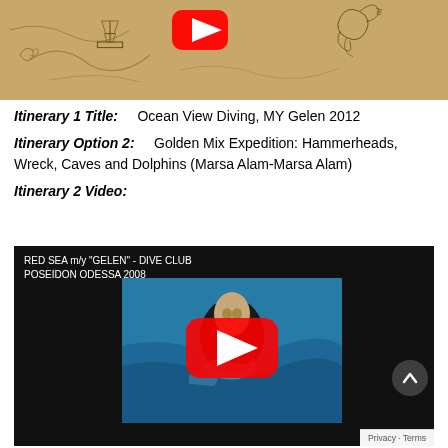[Figure (screenshot): YouTube video thumbnail showing an antique map with a ship, sea monster, and sea creatures on a warm golden/brown parchment background. A red YouTube play button is visible at the top center.]
Itinerary 1 Title:    Ocean View Diving, MY Gelen 2012
Itinerary Option 2:    Golden Mix Expedition: Hammerheads, Wreck, Caves and Dolphins (Marsa Alam-Marsa Alam)
Itinerary 2 Video:
[Figure (screenshot): YouTube video embed showing a diver surfacing in blue water. The video title reads: RED SEA m/y "GELEN" - DIVE CLUB POSEIDON ODESSA 2008. A red YouTube play button overlay is centered on the thumbnail. A scroll-to-top button and Privacy/Terms bar are visible in the lower right corner.]